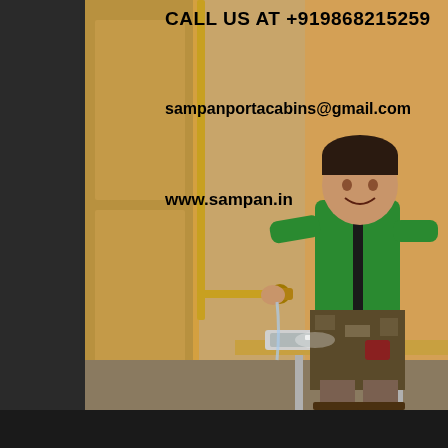[Figure (photo): A young boy in a green shirt standing inside a porta cabin / portable toilet cabin, turning on a tap at a stainless steel sink mounted on wood-paneled walls. Text overlays show contact information for Sampan Porta Cabins.]
CALL US AT +919868215259
sampanportacabins@gmail.com
www.sampan.in